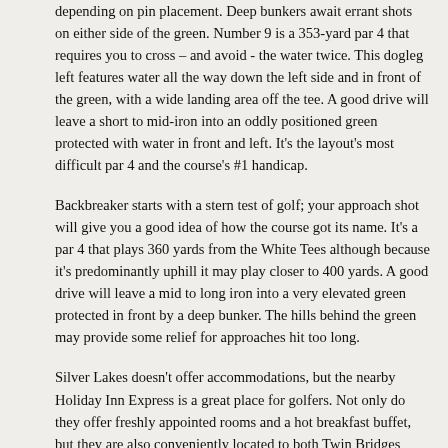depending on pin placement. Deep bunkers await errant shots on either side of the green. Number 9 is a 353-yard par 4 that requires you to cross – and avoid - the water twice. This dogleg left features water all the way down the left side and in front of the green, with a wide landing area off the tee. A good drive will leave a short to mid-iron into an oddly positioned green protected with water in front and left. It's the layout's most difficult par 4 and the course's #1 handicap.
Backbreaker starts with a stern test of golf; your approach shot will give you a good idea of how the course got its name. It's a par 4 that plays 360 yards from the White Tees although because it's predominantly uphill it may play closer to 400 yards. A good drive will leave a mid to long iron into a very elevated green protected in front by a deep bunker. The hills behind the green may provide some relief for approaches hit too long.
Silver Lakes doesn't offer accommodations, but the nearby Holiday Inn Express is a great place for golfers. Not only do they offer freshly appointed rooms and a hot breakfast buffet, but they are also conveniently located to both Twin Bridges Golf Club (15 minutes) and Silver Lakes (20 minutes).
Holiday Inn Express goes the extra mile with the little things, like free coffee and tea and Wi-Fi connections in every room and common area. The rooms are spacious with either 1 king or two queen beds that are extremely comfortable 50" TVs, Keurig coffeemakers, and best of all, lots of outlets. The black-out shades are a nice touch and keep the room dark at night.